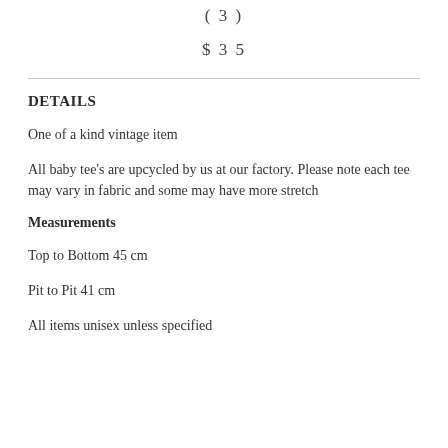( 3 )
$ 3 5
DETAILS
One of a kind vintage item
All baby tee's are upcycled by us at our factory. Please note each tee may vary in fabric and some may have more stretch
Measurements
Top to Bottom 45 cm
Pit to Pit 41 cm
All items unisex unless specified